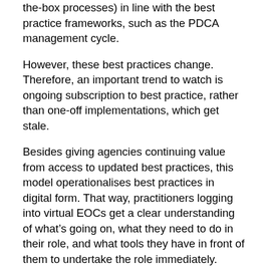the-box processes) in line with the best practice frameworks, such as the PDCA management cycle.
However, these best practices change. Therefore, an important trend to watch is ongoing subscription to best practice, rather than one-off implementations, which get stale.
Besides giving agencies continuing value from access to updated best practices, this model operationalises best practices in digital form. That way, practitioners logging into virtual EOCs get a clear understanding of what’s going on, what they need to do in their role, and what tools they have in front of them to undertake the role immediately.
Subscribing to best practice also gives agencies a variety of EOC structures to stand up, whether gold-standard structures (e.g., ICS, AIIMS, or CIMS), business-as-usual departmental structures, or customised structures.